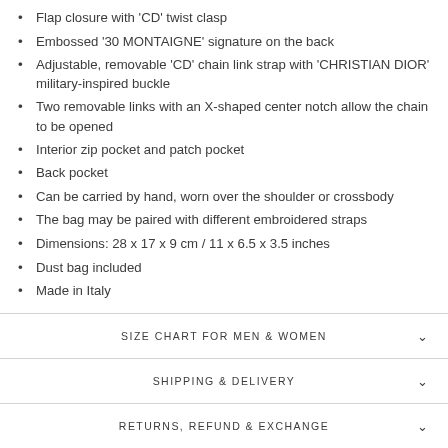Flap closure with 'CD' twist clasp
Embossed '30 MONTAIGNE' signature on the back
Adjustable, removable 'CD' chain link strap with 'CHRISTIAN DIOR' military-inspired buckle
Two removable links with an X-shaped center notch allow the chain to be opened
Interior zip pocket and patch pocket
Back pocket
Can be carried by hand, worn over the shoulder or crossbody
The bag may be paired with different embroidered straps
Dimensions: 28 x 17 x 9 cm / 11 x 6.5 x 3.5 inches
Dust bag included
Made in Italy
SIZE CHART FOR MEN & WOMEN
SHIPPING & DELIVERY
RETURNS, REFUND & EXCHANGE